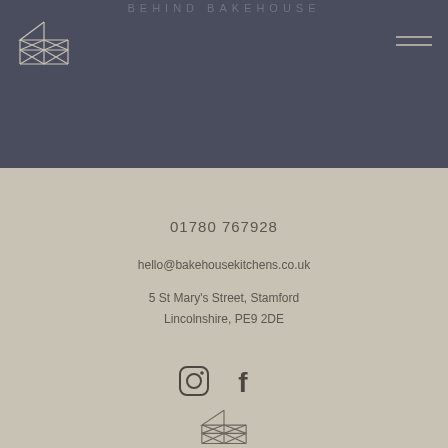Behind Bakehouse
[Figure (logo): Geometric barn/greenhouse logo outline in white lines on dark background, top left]
[Figure (illustration): Hamburger menu icon (two horizontal lines) top right]
01780 767928
hello@bakehousekitchens.co.uk
5 St Mary's Street, Stamford
Lincolnshire, PE9 2DE
[Figure (illustration): Instagram and Facebook social media icons in dark grey]
[Figure (logo): Geometric barn/greenhouse logo outline in dark grey at bottom center]